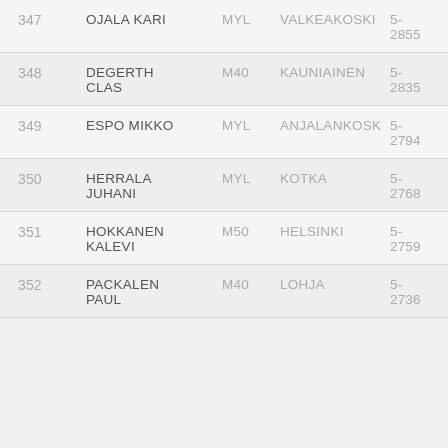| # | Name | Cat | City | Score |
| --- | --- | --- | --- | --- |
| 347 | OJALA KARI | MYL | VALKEAKOSKI | 5-2855 |
| 348 | DEGERTH CLAS | M40 | KAUNIAINEN | 5-2835 |
| 349 | ESPO MIKKO | MYL | ANJALANKOSK | 5-2794 |
| 350 | HERRALA JUHANI | MYL | KOTKA | 5-2768 |
| 351 | HOKKANEN KALEVI | M50 | HELSINKI | 5-2759 |
| 352 | PACKALEN PAUL | M40 | LOHJA | 5-2736 |